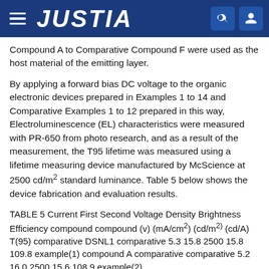JUSTIA
Compound A to Comparative Compound F were used as the host material of the emitting layer.
By applying a forward bias DC voltage to the organic electronic devices prepared in Examples 1 to 14 and Comparative Examples 1 to 12 prepared in this way, Electroluminescence (EL) characteristics were measured with PR-650 from photo research, and as a result of the measurement, the T95 lifetime was measured using a lifetime measuring device manufactured by McScience at 2500 cd/m² standard luminance. Table 5 below shows the device fabrication and evaluation results.
TABLE 5 Current First Second Voltage Density Brightness Efficiency compound compound (v) (mA/cm²) (cd/m²) (cd/A) T(95) comparative DSNL1 comparative 5.3 15.8 2500 15.8 109.8 example(1) compound A comparative comparative 5.2 16.0 2500 15.6 108.9 example(2)